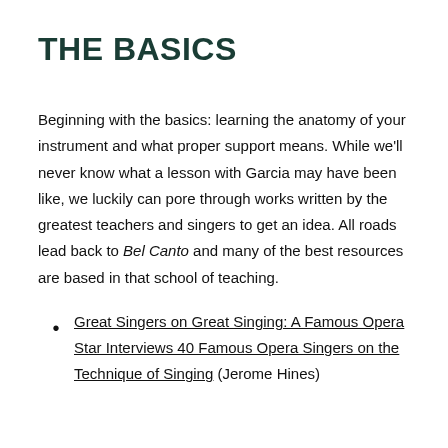THE BASICS
Beginning with the basics: learning the anatomy of your instrument and what proper support means. While we'll never know what a lesson with Garcia may have been like, we luckily can pore through works written by the greatest teachers and singers to get an idea. All roads lead back to Bel Canto and many of the best resources are based in that school of teaching.
Great Singers on Great Singing: A Famous Opera Star Interviews 40 Famous Opera Singers on the Technique of Singing (Jerome Hines)